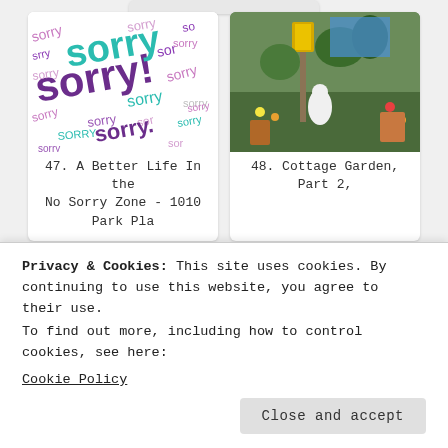[Figure (photo): Partial card visible at top center]
[Figure (photo): Card 47: 'sorry' word collage image in purple, teal and pink text on white background]
47. A Better Life In the No Sorry Zone - 1010 Park Pla
[Figure (photo): Card 48: Cottage Garden photo with lantern, plants, angel statue and colorful flags]
48. Cottage Garden, Part 2,
[Figure (photo): Card showing bird bath and garden decorations against lattice]
[Figure (photo): Card showing indoor/outdoor decorated window with wreath and circular wall art]
Privacy & Cookies: This site uses cookies. By continuing to use this website, you agree to their use.
To find out more, including how to control cookies, see here:
Cookie Policy
Close and accept